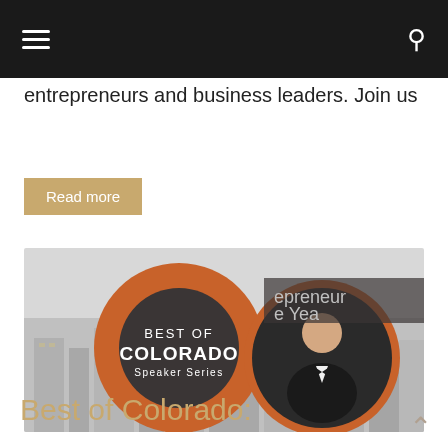Navigation bar with hamburger menu and search icon
entrepreneurs and business leaders. Join us
Read more
[Figure (illustration): Best of Colorado Speaker Series banner image featuring an orange circular logo with 'BEST OF COLORADO Speaker Series' text on the left, and a circular portrait photo of a man in a tuxedo on the right, set against a greyscale city skyline background.]
Best of Colorado: